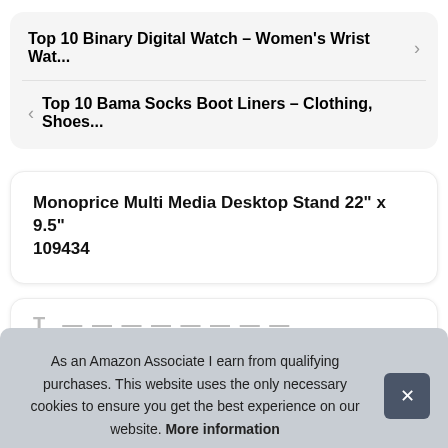Top 10 Binary Digital Watch – Women's Wrist Wat...
Top 10 Bama Socks Boot Liners – Clothing, Shoes...
Monoprice Multi Media Desktop Stand 22" x 9.5" 109434
As an Amazon Associate I earn from qualifying purchases. This website uses the only necessary cookies to ensure you get the best experience on our website. More information